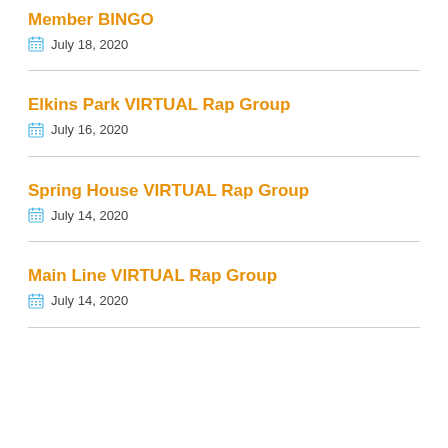Member BINGO
July 18, 2020
Elkins Park VIRTUAL Rap Group
July 16, 2020
Spring House VIRTUAL Rap Group
July 14, 2020
Main Line VIRTUAL Rap Group
July 14, 2020